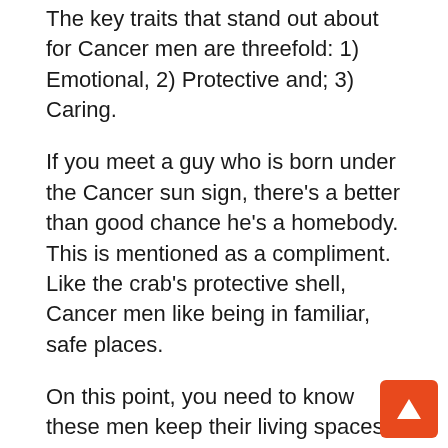The key traits that stand out about for Cancer men are threefold: 1) Emotional, 2) Protective and; 3) Caring.
If you meet a guy who is born under the Cancer sun sign, there's a better than good chance he's a homebody. This is mentioned as a compliment. Like the crab's protective shell, Cancer men like being in familiar, safe places.
On this point, you need to know these men keep their living spaces in meticulous condition. Some might even say they are obsessive about it.
On the karmic level, this makes sense. That's because for Cancer sun signs, it's critical they li... nurturing, supportive, and safe environments.